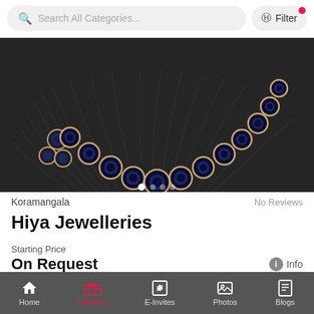Search All Categories...
Filter
[Figure (photo): Close-up photo of a diamond and sapphire necklace and earrings set arranged on a dark woven surface]
Koramangala
No Reviews
Hiya Jewelleries
Starting Price
On Request
Info
Send Message
Home  Vendors  E-Invites  Photos  Blogs